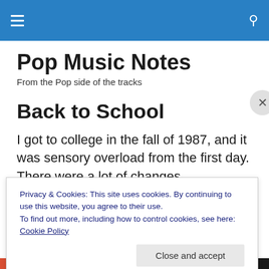Pop Music Notes - navigation bar with hamburger menu and search icon
Pop Music Notes
From the Pop side of the tracks
Back to School
I got to college in the fall of 1987, and it was sensory overload from the first day. There were a lot of changes
Privacy & Cookies: This site uses cookies. By continuing to use this website, you agree to their use.
To find out more, including how to control cookies, see here: Cookie Policy
Close and accept